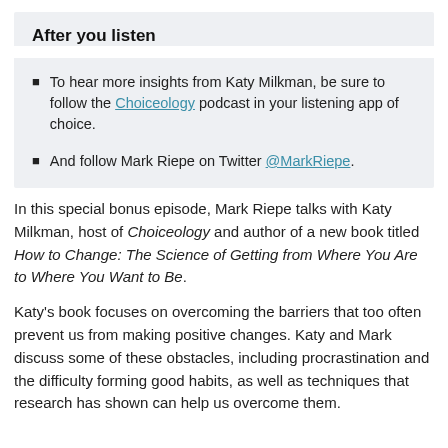After you listen
To hear more insights from Katy Milkman, be sure to follow the Choiceology podcast in your listening app of choice.
And follow Mark Riepe on Twitter @MarkRiepe.
In this special bonus episode, Mark Riepe talks with Katy Milkman, host of Choiceology and author of a new book titled How to Change: The Science of Getting from Where You Are to Where You Want to Be.
Katy's book focuses on overcoming the barriers that too often prevent us from making positive changes. Katy and Mark discuss some of these obstacles, including procrastination and the difficulty forming good habits, as well as techniques that research has shown can help us overcome them.